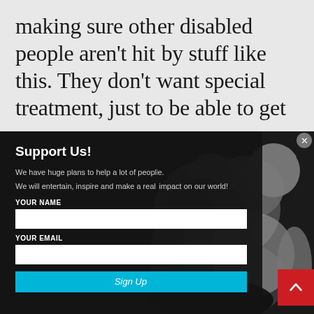making sure other disabled people aren't hit by stuff like this. They don't want special treatment, just to be able to get
Support Us!
We have huge plans to help a lot of people.

We will entertain, inspire and make a real impact on our world!
YOUR NAME
YOUR EMAIL
Sign Up
[Figure (photo): Black and white photo of martial artists/grapplers in action, multiple people in a wrestling/jiu-jitsu grappling situation]